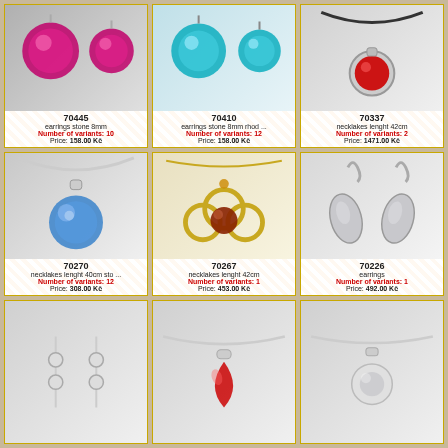[Figure (photo): Pink/magenta crystal earrings]
70445
earrings stone 8mm
Number of variants: 10
Price: 158.00 Kč
[Figure (photo): Teal/cyan crystal earrings]
70410
earrings stone 8mm rhod ...
Number of variants: 12
Price: 158.00 Kč
[Figure (photo): Red crystal pendant necklace on black cord]
70337
necklakes lenght 42cm
Number of variants: 2
Price: 1471.00 Kč
[Figure (photo): Blue crystal circular pendant necklace]
70270
necklakes lenght 40cm sto ...
Number of variants: 12
Price: 308.00 Kč
[Figure (photo): Gold flower-shaped pendant with dark red crystal center]
70267
necklakes lenght 42cm
Number of variants: 1
Price: 453.00 Kč
[Figure (photo): Silver leaf-shaped crystal earrings]
70226
earrings
Number of variants: 1
Price: 492.00 Kč
[Figure (photo): Silver dangle earrings (partial)]
[Figure (photo): Red teardrop crystal pendant necklace (partial)]
[Figure (photo): Silver crystal pendant necklace (partial)]